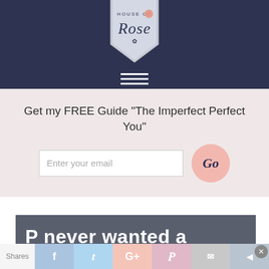[Figure (logo): House of Rose logo on a silver ribbon/pennant badge with dark navy background and hamburger menu icon below]
Get my FREE Guide "The Imperfect Perfect You"
Enter your email
[Figure (screenshot): Article header image with dark grey banner reading 'P never wanted a']
Shares | Facebook | Twitter | Google+ | Pinterest | Email | Share | ×